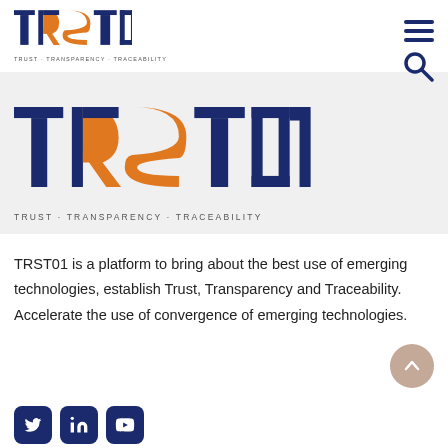[Figure (logo): TRST01 logo with orange and navy blue colors, tagline TRUST·TRANSPARENCY·TRACEABILITY, shown in navigation bar]
[Figure (logo): Large TRST01 logo with orange and navy blue colors in gray banner section, with tagline TRUST·TRANSPARENCY·TRACEABILITY below]
TRST01 is a platform to bring about the best use of emerging technologies, establish Trust, Transparency and Traceability. Accelerate the use of convergence of emerging technologies.